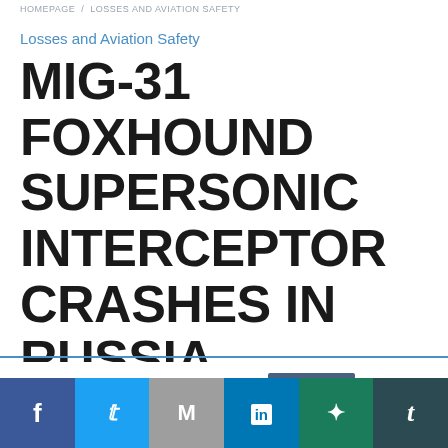HOMEPAGE / LOSSES AND AVIATION SAFETY
Losses and Aviation Safety
MiG-31 FOXHOUND SUPERSONIC INTERCEPTOR CRASHES IN RUSSIA
This website uses cookies.
Social share bar: Facebook, Twitter, Mail, LinkedIn, WhatsApp, Tumblr